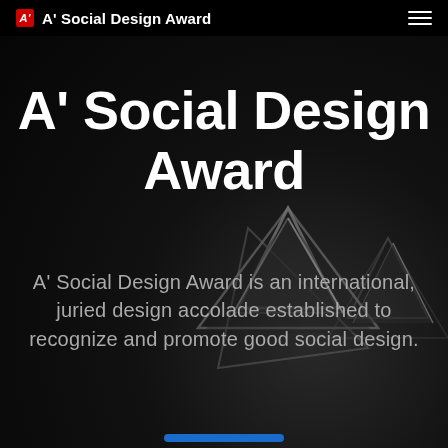A' Social Design Award
A' Social Design Award
A' Social Design Award is an international, juried design accolade established to recognize and promote good social design.
[Figure (photo): Black and white photograph of metallic star-shaped design award trophies in the background]